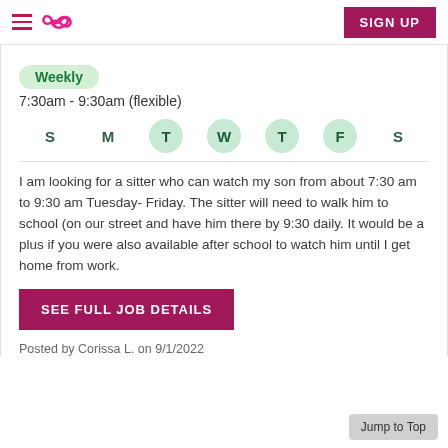≡  ∞  SIGN UP
Weekly
7:30am - 9:30am (flexible)
[Figure (infographic): Day-of-week selector showing S M T W T F S with Tuesday, Wednesday, Thursday, Friday highlighted in green circles]
I am looking for a sitter who can watch my son from about 7:30 am to 9:30 am Tuesday- Friday. The sitter will need to walk him to school (on our street and have him there by 9:30 daily. It would be a plus if you were also available after school to watch him until I get home from work.
SEE FULL JOB DETAILS
Posted by Corissa L. on 9/1/2022